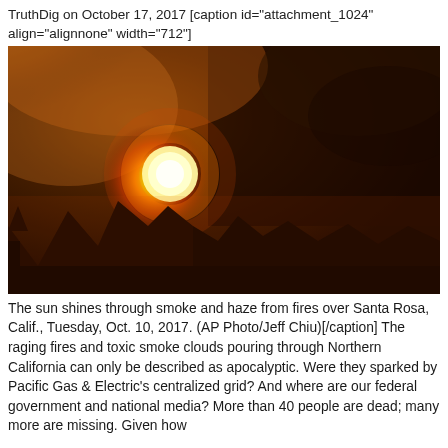TruthDig on October 17, 2017 [caption id="attachment_1024" align="alignnone" width="712"]
[Figure (photo): The sun shines through smoke and haze, glowing orange-red through thick smoke clouds over mountain silhouettes, Santa Rosa, California wildfire scene, October 10, 2017.]
The sun shines through smoke and haze from fires over Santa Rosa, Calif., Tuesday, Oct. 10, 2017. (AP Photo/Jeff Chiu)[/caption] The raging fires and toxic smoke clouds pouring through Northern California can only be described as apocalyptic. Were they sparked by Pacific Gas & Electric's centralized grid? And where are our federal government and national media? More than 40 people are dead; many more are missing. Given how